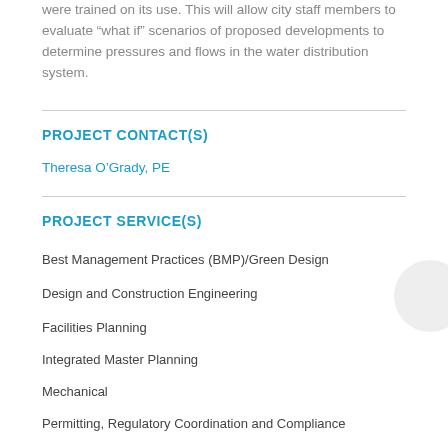were trained on its use. This will allow city staff members to evaluate “what if” scenarios of proposed developments to determine pressures and flows in the water distribution system.
PROJECT CONTACT(S)
Theresa O’Grady, PE
PROJECT SERVICE(S)
Best Management Practices (BMP)/Green Design
Design and Construction Engineering
Facilities Planning
Integrated Master Planning
Mechanical
Permitting, Regulatory Coordination and Compliance